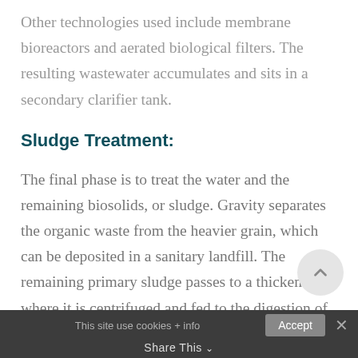Other technologies used include membrane bioreactors and aerated biological filters. The resulting wastewater accumulates and sits in a secondary clarifier tank.
Sludge Treatment:
The final phase is to treat the water and the remaining biosolids, or sludge. Gravity separates the organic waste from the heavier grain, which can be deposited in a sanitary landfill. The remaining primary sludge passes to a thickener, where it is centrifuged and fed to the digestion of the...
This site use cookies + info   Accept   ✕   Share This ⌄